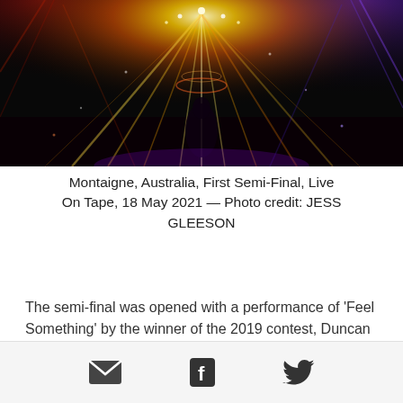[Figure (photo): Concert performance photo with colorful stage lighting — bright yellow, orange, red, and blue light beams radiating from above a performer on a dark stage]
Montaigne, Australia, First Semi-Final, Live On Tape, 18 May 2021 — Photo credit: JESS GLEESON
The semi-final was opened with a performance of 'Feel Something' by the winner of the 2019 contest, Duncan Laurence, who was awarded a global platinum award for receiving 1 billion streams of his winning entry 'Arcade'.
Email, Facebook, Twitter social share icons